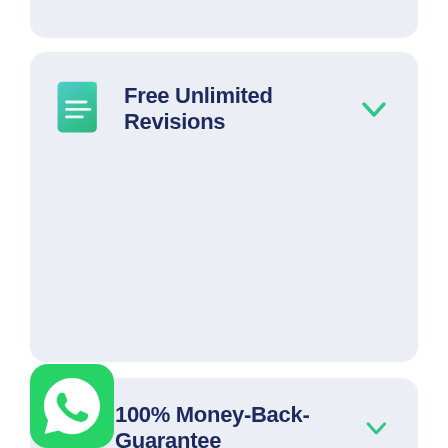[Figure (screenshot): Partially visible card at the top of the page with light lavender background]
Free Unlimited Revisions
[Figure (illustration): Teal document icon with lines representing text on a page]
[Figure (illustration): Green chevron/checkmark (dropdown arrow) on the right side of the Free Unlimited Revisions card]
100% Money-Back-Guarantee
[Figure (illustration): Green delivery truck icon with a package]
[Figure (illustration): WhatsApp app icon (green circle with white phone bubble) overlapping the bottom card]
[Figure (illustration): Green chevron/checkmark (dropdown arrow) on the right side of the Money-Back-Guarantee card]